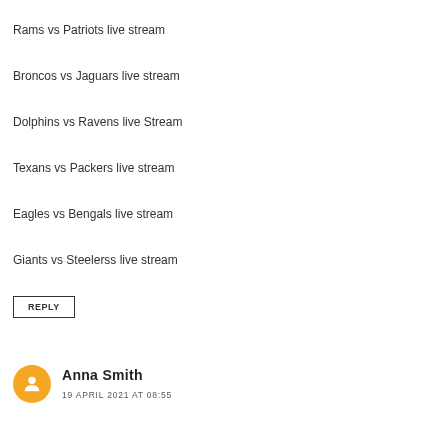Rams vs Patriots live stream
Broncos vs Jaguars live stream
Dolphins vs Ravens live Stream
Texans vs Packers live stream
Eagles vs Bengals live stream
Giants vs Steelerss live stream
REPLY
Anna Smith
19 APRIL 2021 AT 08:55